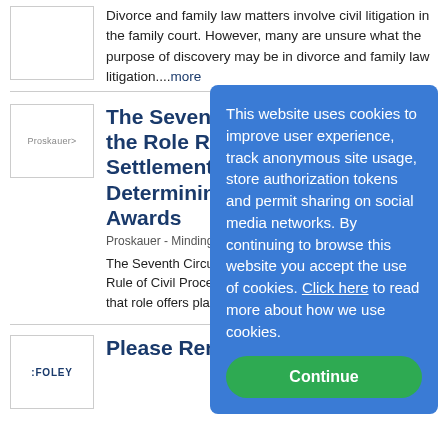Divorce and family law matters involve civil litigation in the family court. However, many are unsure what the purpose of discovery may be in divorce and family law litigation....more
The Seventh Circuit and the Role Rejecting Settlement Offers in Determining Attorneys' Fee Awards
Proskauer - Minding Your Business
The Seventh Circuit recently distinction between offers of Rule of Civil Procedure 68 a settlement, and explained th offers plays...more
Please Remain Standing: 11th
This website uses cookies to improve user experience, track anonymous site usage, store authorization tokens and permit sharing on social media networks. By continuing to browse this website you accept the use of cookies. Click here to read more about how we use cookies.
Continue